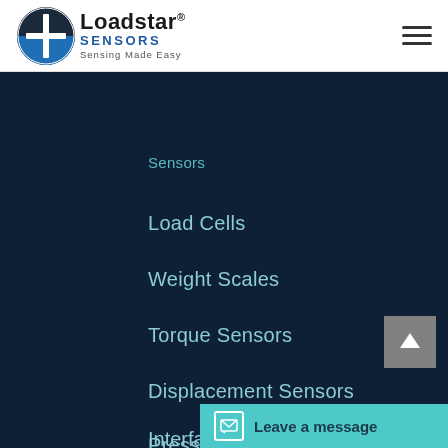[Figure (logo): Loadstar Sensors logo with circular blue/dark emblem and text 'Loadstar SENSORS — Sensing Made Easy']
Sensors
Load Cells
Weight Scales
Torque Sensors
Displacement Sensors
Pressure Sensors
Level Sensors
Interfaces